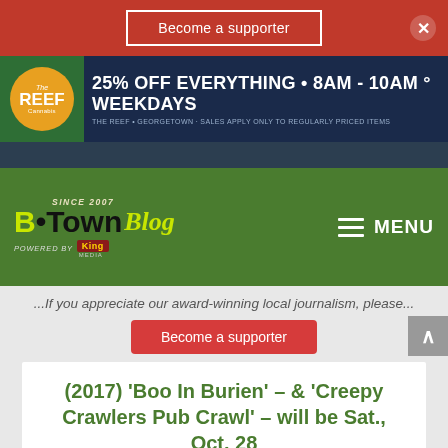Become a supporter
[Figure (photo): The Reef Cannabis advertisement banner: 25% OFF EVERYTHING • 8AM - 10AM ° WEEKDAYS]
[Figure (logo): The B•Town Blog logo - Since 2007, Powered by King Media, with MENU navigation]
...If you appreciate our award-winning local journalism, please...
Become a supporter
(2017) 'Boo In Burien' – & 'Creepy Crawlers Pub Crawl' – will be Sat., Oct. 28
Oct 16, 2017 | Arts, Bur...